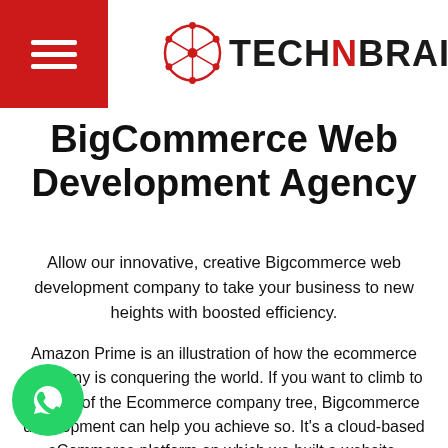TECHNBRAINS
BigCommerce Web Development Agency
Allow our innovative, creative Bigcommerce web development company to take your business to new heights with boosted efficiency.
Amazon Prime is an illustration of how the ecommerce economy is conquering the world. If you want to climb to the top of the Ecommerce company tree, Bigcommerce development can help you achieve so. It's a cloud-based eCommerce platform on which we built a website. BigCommerce is a significant eCommerce platform that competes with some of the most well-known names in the industry, including Shopify, Wix and WooCommerce, among others. It not only has